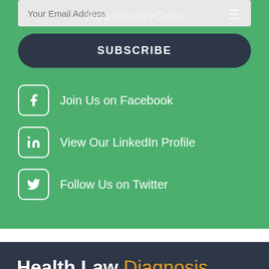Your Email Address
SUBSCRIBE
Join Us on Facebook
View Our LinkedIn Profile
Follow Us on Twitter
Health Law Diagnosis
Our Authors
Robinson+Cole